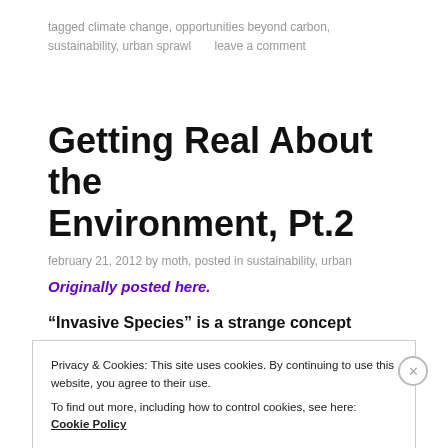tagged climate change, opportunities beyond carbon, sustainability, urban sprawl     leave a comment
Getting Real About the Environment, Pt.2
february 21, 2012 by moth, posted in sustainability, urban
Originally posted here.
“Invasive Species” is a strange concept
Privacy & Cookies: This site uses cookies. By continuing to use this website, you agree to their use.
To find out more, including how to control cookies, see here: Cookie Policy